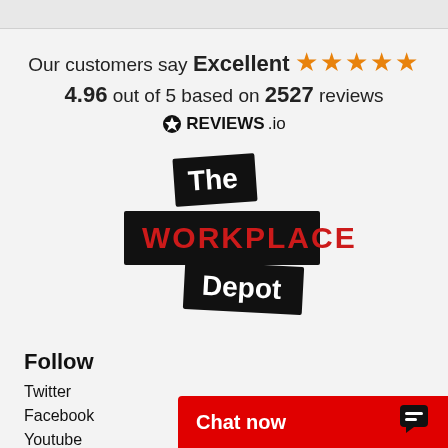Our customers say Excellent ★★★★★ 4.96 out of 5 based on 2527 reviews ⊙REVIEWS.io
[Figure (logo): The Workplace Depot logo: three black panels with 'The' in white handwriting, 'WORKPLACE' in bold red uppercase, and 'Depot' in white handwriting]
Follow
Twitter
Facebook
Youtube
Instagram
Chat now